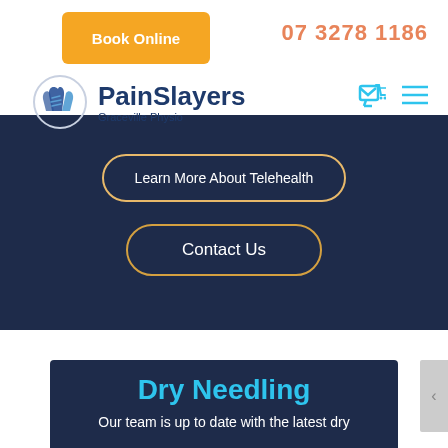[Figure (logo): PainSlayers Graceville Physio logo with hand/wave icon]
Book Online
07 3278 1186
Learn More About Telehealth
Contact Us
Dry Needling
Our team is up to date with the latest dry